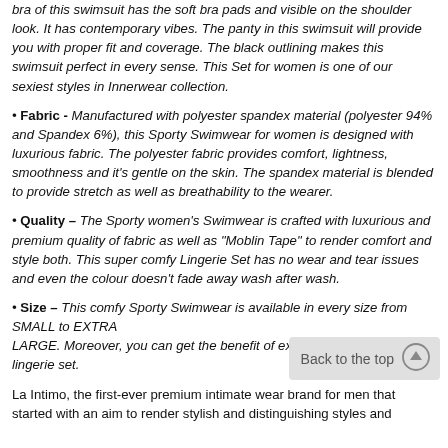bra of this swimsuit has the soft bra pads and visible on the shoulder look. It has contemporary vibes. The panty in this swimsuit will provide you with proper fit and coverage. The black outlining makes this swimsuit perfect in every sense. This Set for women is one of our sexiest styles in Innerwear collection.
Fabric - Manufactured with polyester spandex material (polyester 94% and Spandex 6%), this Sporty Swimwear for women is designed with luxurious fabric. The polyester fabric provides comfort, lightness, smoothness and it's gentle on the skin. The spandex material is blended to provide stretch as well as breathability to the wearer.
Quality – The Sporty women's Swimwear is crafted with luxurious and premium quality of fabric as well as "Moblin Tape" to render comfort and style both. This super comfy Lingerie Set has no wear and tear issues and even the colour doesn't fade away wash after wash.
Size – This comfy Sporty Swimwear is available in every size from SMALL to EXTRA LARGE. Moreover, you can get the benefit of exception lingerie set.
La Intimo, the first-ever premium intimate wear brand for men that started with an aim to render stylish and distinguishing styles and